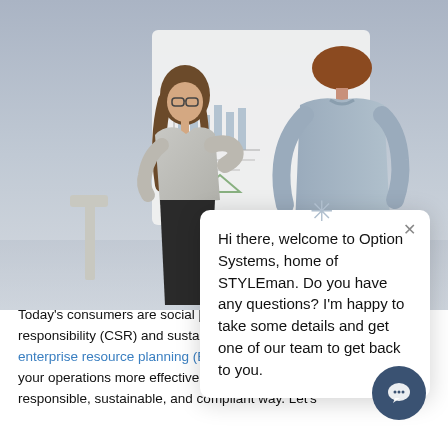[Figure (photo): Office scene with two people (a woman presenting and a man with back to viewer) standing in front of a whiteboard with a chart on it. Background is a light grey office environment.]
[Figure (screenshot): Chat popup overlay with close button (×) and a snowflake/asterisk pointer. Text reads: 'Hi there, welcome to Option Systems, home of STYLEman. Do you have any questions? I'm happy to take some details and get one of our team to get back to you.' A dark navy chat button circle appears in the bottom right.]
Today's consumers are social [obscured by chat popup] it's crucial for apparel compa[nies to take corporate social] responsibility (CSR) and sustainability seriously. Using the latest enterprise resource planning (ERP) software will allow you [to] monitor your operations more effectively, and ensure that [you're] working in a responsible, sustainable, and compliant way. Let's